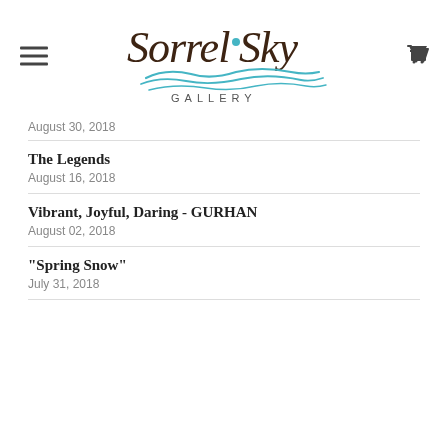Sorrel Sky Gallery
August 30, 2018
The Legends
August 16, 2018
Vibrant, Joyful, Daring - GURHAN
August 02, 2018
"Spring Snow"
July 31, 2018